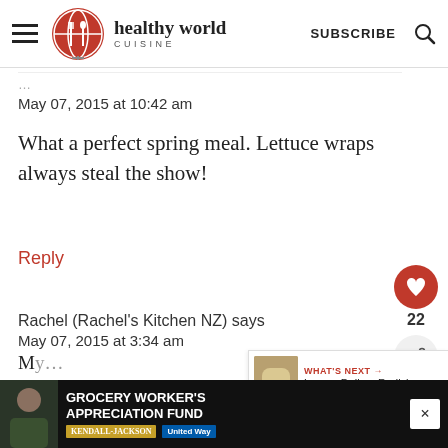[Figure (logo): Healthy World Cuisine logo with globe and fork/spoon icon, hamburger menu, SUBSCRIBE text, and search icon]
May 07, 2015 at 10:42 am
What a perfect spring meal. Lettuce wraps always steal the show!
Reply
Rachel (Rachel's Kitchen NZ) says
May 07, 2015 at 3:34 am
[Figure (infographic): WHAT'S NEXT arrow label with Lemon Daikon Radish... thumbnail]
[Figure (infographic): Bottom advertisement bar: GROCERY WORKER'S APPRECIATION FUND with Kendall Jackson and United Way logos]